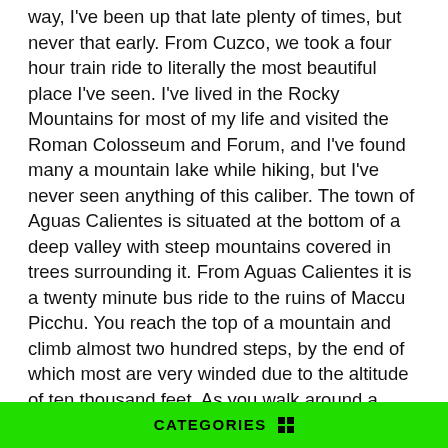way, I've been up that late plenty of times, but never that early. From Cuzco, we took a four hour train ride to literally the most beautiful place I've seen. I've lived in the Rocky Mountains for most of my life and visited the Roman Colosseum and Forum, and I've found many a mountain lake while hiking, but I've never seen anything of this caliber. The town of Aguas Calientes is situated at the bottom of a deep valley with steep mountains covered in trees surrounding it. From Aguas Calientes it is a twenty minute bus ride to the ruins of Maccu Picchu. You reach the top of a mountain and climb almost two hundred steps, by the end of which most are very winded due to the altitude of ten thousand feet. As you walk around a corner your breath is robbed once again. Before you is the Incan city of Maccu Piccu, where long a go an Incan king fled to when his kingdom was threatened by Spaniards. The stonework is perfect, and you can almost see the children running through the narrow alleyways. To look out on that beautiful place has a calming effect on you as you breathe the clean mountain air. We spent hours listening to
CATEGORIES